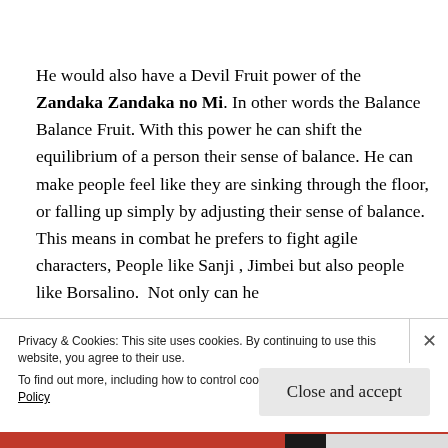He would also have a Devil Fruit power of the Zandaka Zandaka no Mi. In other words the Balance Balance Fruit. With this power he can shift the equilibrium of a person their sense of balance. He can make people feel like they are sinking through the floor, or falling up simply by adjusting their sense of balance. This means in combat he prefers to fight agile characters, People like Sanji , Jimbei but also people like Borsalino.  Not only can he
Privacy & Cookies: This site uses cookies. By continuing to use this website, you agree to their use.
To find out more, including how to control cookies, see here: Cookie Policy